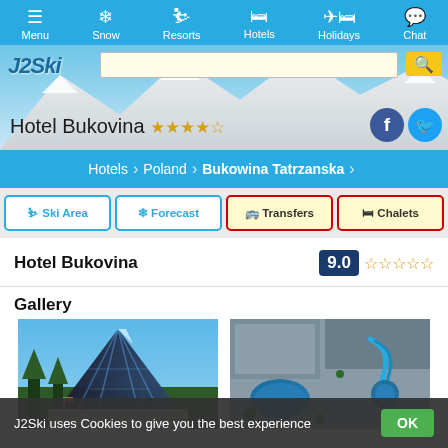Menu | Snow | Resorts | Hotels | Holidays | Chat
[Figure (screenshot): Hotel Bukovina banner with mountain background, J2Ski logo, search bar, 4-star rating and social media icons]
Hotels > Poland > Bukowina Tatrzanska
🎿 Ski Area | ❄ Forecast | 🚌 Transfers | 🛏 Chalets
Hotel Bukovina  9.0 ☆☆☆☆☆
Gallery
[Figure (photo): Two hotel gallery images side by side: left shows modern glass hotel building exterior, right shows aerial view of pool/waterpark area]
J2Ski uses Cookies to give you the best experience  OK